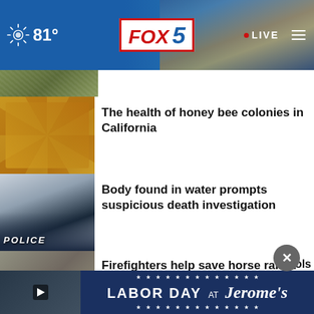FOX 5 • 81° • LIVE
[Figure (screenshot): Partial thumbnail of a news story at the top]
The health of honey bee colonies in California
Body found in water prompts suspicious death investigation
Firefighters help save horse ranch from Lakeside …
Loyal SC gives fan new prosthetic leg
108 rescued beagles arrive in SD
[Figure (screenshot): Advertisement banner: LABOR DAY AT Jerome's with stars border]
ools